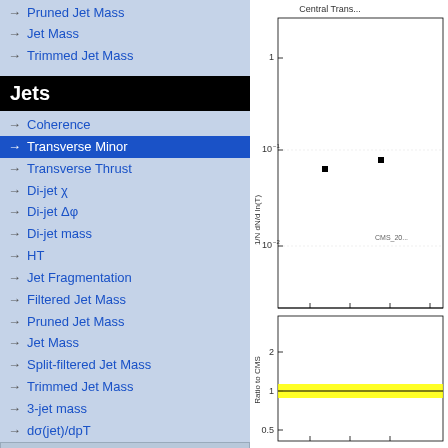→ Pruned Jet Mass
→ Jet Mass
→ Trimmed Jet Mass
Jets
→ Coherence
→ Transverse Minor
→ Transverse Thrust
→ Di-jet χ
→ Di-jet Δφ
→ Di-jet mass
→ HT
→ Jet Fragmentation
→ Filtered Jet Mass
→ Pruned Jet Mass
→ Jet Mass
→ Split-filtered Jet Mass
→ Trimmed Jet Mass
→ 3-jet mass
→ dσ(jet)/dpT
→ Jets + Veto
→ Jet Shapes
→ Jet Charge
→ Jet Substructure
[Figure (continuous-plot): Partial view of a log-scale physics plot labeled 'Central Trans...' showing 1/N dN/d ln(T) on y-axis with values from 10^-2 to above 1, with scattered black square data points. Below is a ratio panel labeled 'Ratio to CMS' with a horizontal band near 1.0 highlighted in yellow, ranging from 0.5 to 2.]